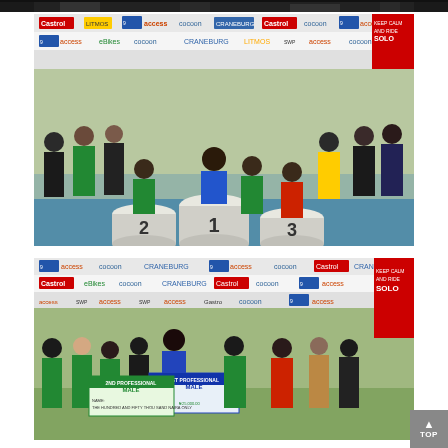[Figure (photo): Partial view of a cycling event photo at the top of the page, showing partial images of cyclists and equipment against a dark background]
[Figure (photo): Group photo of cycling race participants including winners on a podium numbered 1, 2, 3, wearing green and blue cycling jerseys. Sponsor banners in the background including Castrol, Access Bank, Cocoon, 9mobile, Craneburg. Podium winners receive medals.]
[Figure (photo): Award ceremony photo from a cycling event. Participants holding oversized cheques. Banners visible: '1ST PROFESSIONAL MALE', '2ND PROFESSIONAL MALE'. Sponsors: Cocoon, Access Bank, Castrol, Craneburg, 9mobile. A 'TOP' button visible on the right side.]